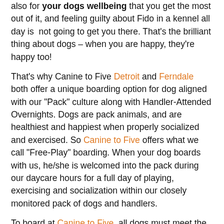also for your dogs wellbeing that you get the most out of it, and feeling guilty about Fido in a kennel all day is not going to get you there. That's the brilliant thing about dogs – when you are happy, they're happy too!
That's why Canine to Five Detroit and Ferndale both offer a unique boarding option for dog aligned with our "Pack" culture along with Handler-Attended Overnights. Dogs are pack animals, and are healthiest and happiest when properly socialized and exercised. So Canine to Five offers what we call "Free-Play" boarding. When your dog boards with us, he/she is welcomed into the pack during our daycare hours for a full day of playing, exercising and socialization within our closely monitored pack of dogs and handlers.
To board at Canine to Five, all dogs must meet the same requirements as our daycare dogs since they'll be interacting with the pack all day. It takes a little more effort than simply dropping your dog off at a